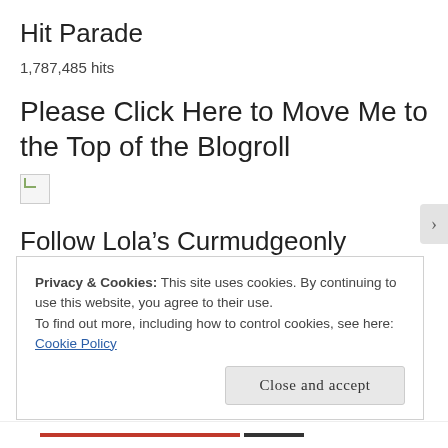Hit Parade
1,787,485 hits
Please Click Here to Move Me to the Top of the Blogroll
[Figure (illustration): Broken image placeholder icon]
Follow Lola’s Curmudgeonly Musings
Privacy & Cookies: This site uses cookies. By continuing to use this website, you agree to their use.
To find out more, including how to control cookies, see here: Cookie Policy
Close and accept